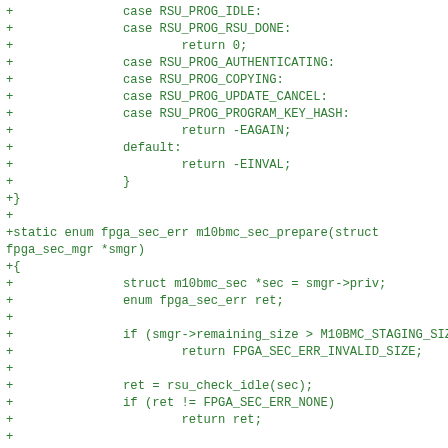Code diff showing C source additions including switch cases for RSU_PROG states and a static function m10bmc_sec_prepare